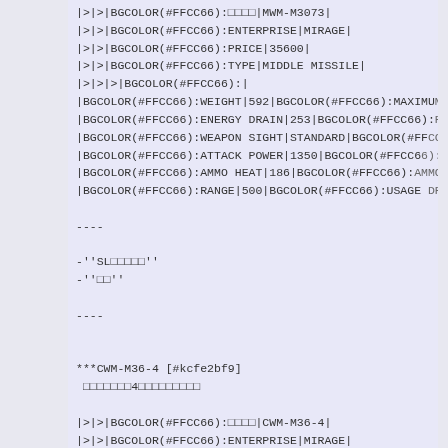|>|>|BGCOLOR(#FFCC66):□□□□|MWM-M3073|
|>|>|BGCOLOR(#FFCC66):ENTERPRISE|MIRAGE|
|>|>|BGCOLOR(#FFCC66):PRICE|35600|
|>|>|BGCOLOR(#FFCC66):TYPE|MIDDLE MISSILE|
|>|>|>|BGCOLOR(#FFCC66):|
|BGCOLOR(#FFCC66):WEIGHT|592|BGCOLOR(#FFCC66):MAXIMUM LO
|BGCOLOR(#FFCC66):ENERGY DRAIN|253|BGCOLOR(#FFCC66):RELOA
|BGCOLOR(#FFCC66):WEAPON SIGHT|STANDARD|BGCOLOR(#FFCC66):
|BGCOLOR(#FFCC66):ATTACK POWER|1350|BGCOLOR(#FFCC66):AMMO
|BGCOLOR(#FFCC66):AMMO HEAT|186|BGCOLOR(#FFCC66):AMMO PRI
|BGCOLOR(#FFCC66):RANGE|500|BGCOLOR(#FFCC66):USAGE DRAIN|

----

-''SL□□□□□''
-''□□''

----


***CWM-M36-4 [#kcfe2bf9]
 □□□□□□□4□□□□□□□□□

|>|>|BGCOLOR(#FFCC66):□□□□|CWM-M36-4|
|>|>|BGCOLOR(#FFCC66):ENTERPRISE|MIRAGE|
|>|>|BGCOLOR(#FFCC66):PRICE|43000|
|>|>|BGCOLOR(#FFCC66):TYPE|MIDDLE MISSILE|